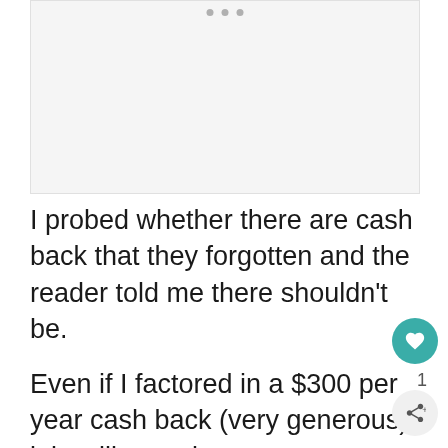[Figure (other): Gray placeholder image area with three dots at top center indicating a loading or ad image slot]
I probed whether there are cash back that they forgotten and the reader told me there shouldn't be.
Even if I factored in a $300 per year cash back (very generous), it is still negative.
This actually means per year compounded,